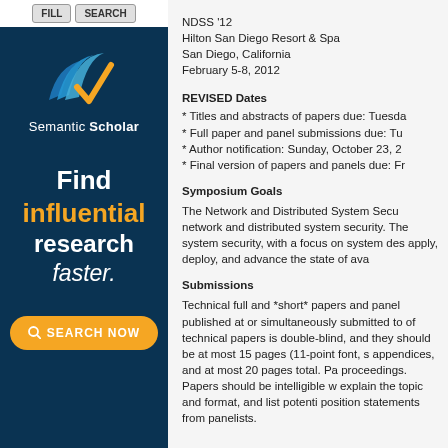[Figure (logo): Semantic Scholar logo and advertisement sidebar with 'Find influential research faster.' text and SEARCH NOW button]
NDSS '12
Hilton San Diego Resort & Spa
San Diego, California
February 5-8, 2012
REVISED Dates
* Titles and abstracts of papers due: Tuesday
* Full paper and panel submissions due: Tu
* Author notification: Sunday, October 23, 2
* Final version of papers and panels due: Fr
Symposium Goals
The Network and Distributed System Secu network and distributed system security. The system security, with a focus on system des apply, deploy, and advance the state of ava
Submissions
Technical full and *short* papers and panel published at or simultaneously submitted to of technical papers is double-blind, and they should be at most 15 pages (11-point font, s appendices, and at most 20 pages total. Pa proceedings. Papers should be intelligible w explain the topic and format, and list potenti position statements from panelists.